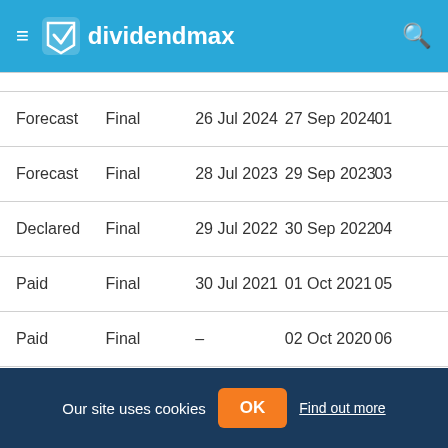dividendmax
| Status | Type | Ex-Div Date | Pay Date |  |
| --- | --- | --- | --- | --- |
| Forecast | Final | 26 Jul 2024 | 27 Sep 2024 | 01 |
| Forecast | Final | 28 Jul 2023 | 29 Sep 2023 | 03 |
| Declared | Final | 29 Jul 2022 | 30 Sep 2022 | 04 |
| Paid | Final | 30 Jul 2021 | 01 Oct 2021 | 05 |
| Paid | Final | – | 02 Oct 2020 | 06 |
| Paid | Final | 18 Jun 2019 | 27 Sep 2019 | 01 |
Our site uses cookies  OK  Find out more